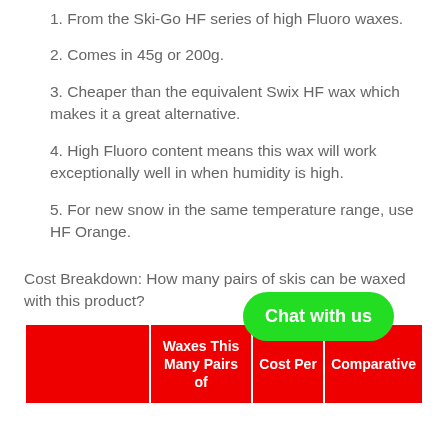1. From the Ski-Go HF series of high Fluoro waxes.
2. Comes in 45g or 200g.
3. Cheaper than the equivalent Swix HF wax which makes it a great alternative.
4. High Fluoro content means this wax will work exceptionally well in when humidity is high.
5. For new snow in the same temperature range, use HF Orange.
Cost Breakdown: How many pairs of skis can be waxed with this product?
|  | Waxes This Many Pairs of | Cost Per | Comparative |
| --- | --- | --- | --- |